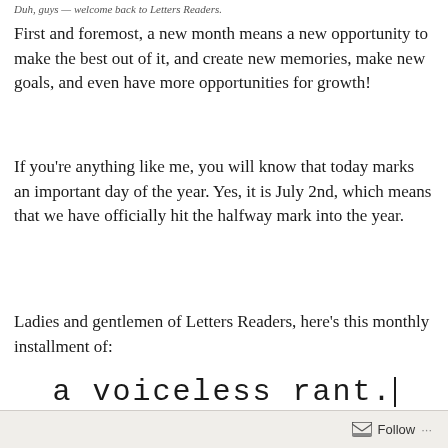Duh, guys — welcome back to Letters Readers.
First and foremost, a new month means a new opportunity to make the best out of it, and create new memories, make new goals, and even have more opportunities for growth!
If you're anything like me, you will know that today marks an important day of the year. Yes, it is July 2nd, which means that we have officially hit the halfway mark into the year.
Ladies and gentlemen of Letters Readers, here's this monthly installment of:
a voiceless rant.
Follow